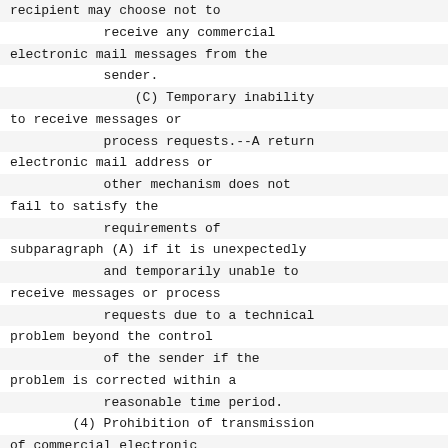recipient may choose not to receive any commercial electronic mail messages from the sender.
(C) Temporary inability to receive messages or process requests.--A return electronic mail address or other mechanism does not fail to satisfy the requirements of subparagraph (A) if it is unexpectedly and temporarily unable to receive messages or process requests due to a technical problem beyond the control of the sender if the problem is corrected within a reasonable time period.
(4) Prohibition of transmission of commercial electronic mail after objection.--
(A) In general.--If a